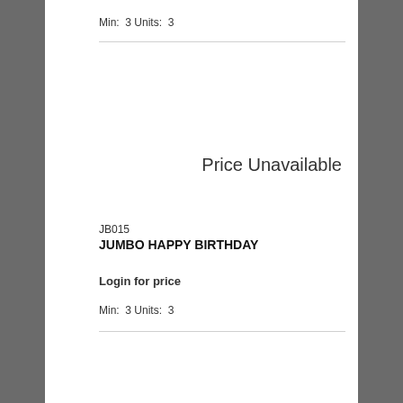Min:  3 Units:  3
Price Unavailable
JB015
JUMBO HAPPY BIRTHDAY
Login for price
Min:  3 Units:  3